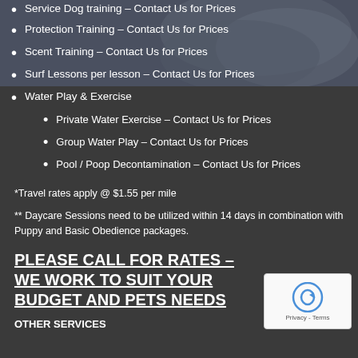Service Dog training – Contact Us for Prices
Protection Training – Contact Us for Prices
Scent Training – Contact Us for Prices
Surf Lessons per lesson – Contact Us for Prices
Water Play & Exercise
Private Water Exercise – Contact Us for Prices
Group Water Play – Contact Us for Prices
Pool / Poop Decontamination – Contact Us for Prices
*Travel rates apply @ $1.55 per mile
** Daycare Sessions need to be utilized within 14 days in combination with Puppy and Basic Obedience packages.
PLEASE CALL FOR RATES – WE WORK TO SUIT YOUR BUDGET AND PETS NEEDS
OTHER SERVICES